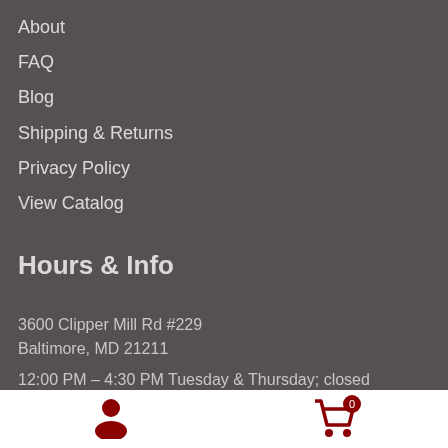About
FAQ
Blog
Shipping & Returns
Privacy Policy
View Catalog
Hours & Info
3600 Clipper Mill Rd #229
Baltimore, MD 21211
12:00 PM – 4:30 PM Tuesday & Thursday; closed Monday,